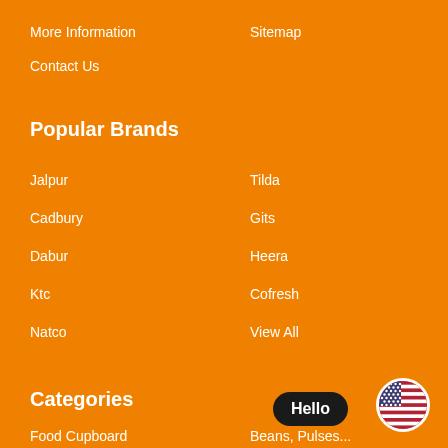More Information
Sitemap
Contact Us
Popular Brands
Jalpur
Tilda
Cadbury
Gits
Dabur
Heera
Ktc
Cofresh
Natco
View All
Categories
Food Cupboard
Beans, Pulses...
[Figure (illustration): Hello chat bubble with US flag circle icon]